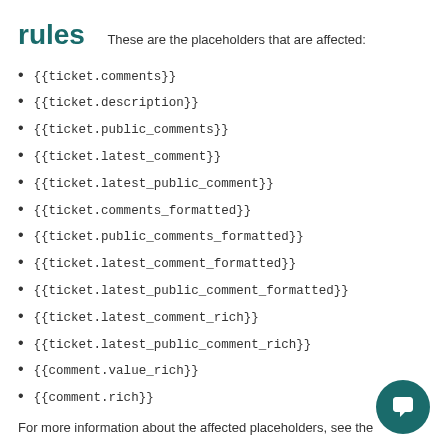rules
These are the placeholders that are affected:
{{ticket.comments}}
{{ticket.description}}
{{ticket.public_comments}}
{{ticket.latest_comment}}
{{ticket.latest_public_comment}}
{{ticket.comments_formatted}}
{{ticket.public_comments_formatted}}
{{ticket.latest_comment_formatted}}
{{ticket.latest_public_comment_formatted}}
{{ticket.latest_comment_rich}}
{{ticket.latest_public_comment_rich}}
{{comment.value_rich}}
{{comment.rich}}
For more information about the affected placeholders, see the